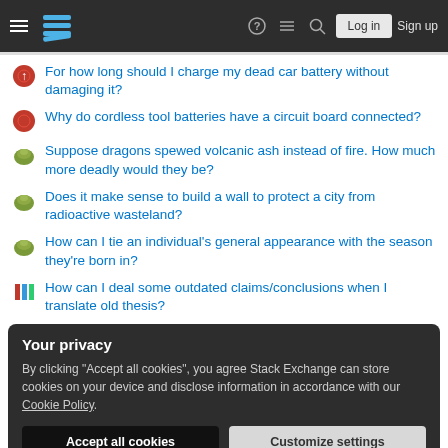Stack Exchange navigation header with hamburger menu, logo, help, chat, search icons, Log in and Sign up buttons
For how long should I charge my dead car battery without damaging it?
Why do cordless tool batteries have a circuit board connected?
Suppose dragons spewed volcanic ash instead of fire. How much more deadly would they be?
Does it make sense to build a wall to protect a city from radioactive wasteland?
How can I tie an individual's general appearance with the season they're born in?
How can I deal some outdated claims/conclusions when I translate old thesis?
Your privacy
By clicking "Accept all cookies", you agree Stack Exchange can store cookies on your device and disclose information in accordance with our Cookie Policy.
[Accept all cookies] [Customize settings]